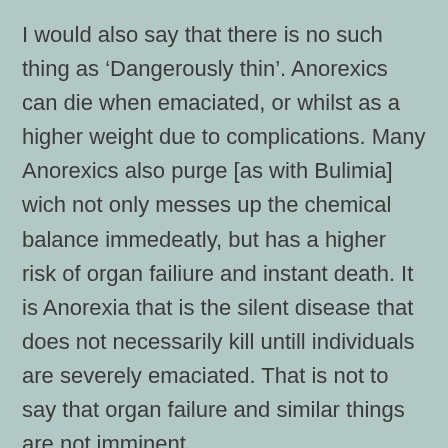I would also say that there is no such thing as ‘Dangerously thin’. Anorexics can die when emaciated, or whilst as a higher weight due to complications. Many Anorexics also purge [as with Bulimia] wich not only messes up the chemical balance immedeatly, but has a higher risk of organ failiure and instant death. It is Anorexia that is the silent disease that does not necessarily kill untill individuals are severely emaciated. That is not to say that organ failure and similar things are not imminent.